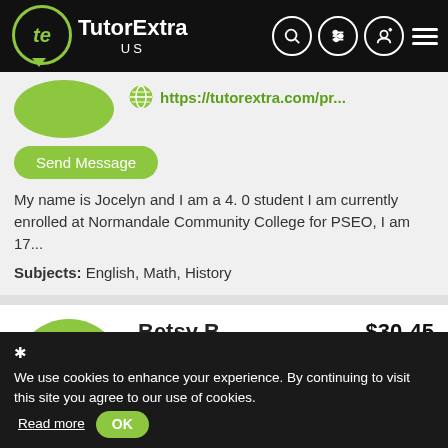[Figure (logo): TutorExtra US logo on black header with navigation icons]
https://tutorextra.com/pr...
Send Message
My name is Jocelyn and I am a 4. 0 student I am currently enrolled at Normandale Community College for PSEO, I am 17...
Subjects: English, Math, History
Betsy B.   $30-45
Tutor, Teacher
Hastings, MN
https://tutorextra.com/pr...
✱ We use cookies to enhance your experience. By continuing to visit this site you agree to our use of cookies. Read more  OK